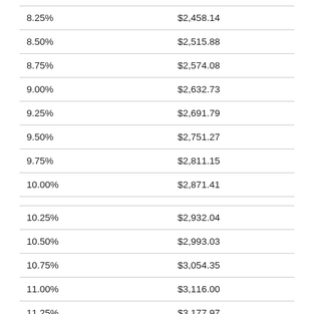|  |  |
| --- | --- |
| 8.25% | $2,458.14 |
| 8.50% | $2,515.88 |
| 8.75% | $2,574.08 |
| 9.00% | $2,632.73 |
| 9.25% | $2,691.79 |
| 9.50% | $2,751.27 |
| 9.75% | $2,811.15 |
| 10.00% | $2,871.41 |
|  |  |
| 10.25% | $2,932.04 |
| 10.50% | $2,993.03 |
| 10.75% | $3,054.35 |
| 11.00% | $3,116.00 |
| 11.25% | $3,177.97 |